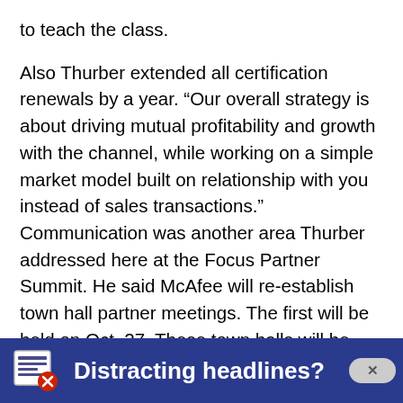to teach the class.
Also Thurber extended all certification renewals by a year. “Our overall strategy is about driving mutual profitability and growth with the channel, while working on a simple market model built on relationship with you instead of sales transactions.” Communication was another area Thurber addressed here at the Focus Partner Summit. He said McAfee will re-establish town hall partner meetings. The first will be held on Oct. 27. These town halls will be video taped and posted online.Thurber also said he was “sticking his neck out and promised a total overhaul of the partner portal by the next Partner Summit. The
[Figure (screenshot): Advertisement banner with dark blue background, small icon on the left showing a newspaper/feed icon with a red circle, bold white text reading 'Distracting headlines?' and a grey close button with an X on the right.]